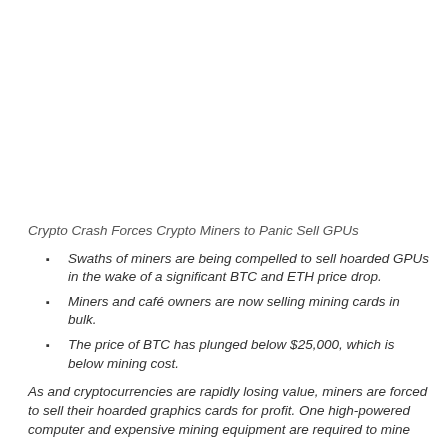Crypto Crash Forces Crypto Miners to Panic Sell GPUs
Swaths of miners are being compelled to sell hoarded GPUs in the wake of a significant BTC and ETH price drop.
Miners and café owners are now selling mining cards in bulk.
The price of BTC has plunged below $25,000, which is below mining cost.
As and cryptocurrencies are rapidly losing value, miners are forced to sell their hoarded graphics cards for profit. One high-powered computer and expensive mining equipment are required to mine